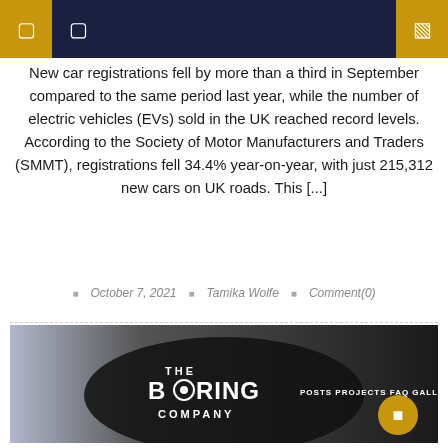☰ ☰ [search icon]
New car registrations fell by more than a third in September compared to the same period last year, while the number of electric vehicles (EVs) sold in the UK reached record levels. According to the Society of Motor Manufacturers and Traders (SMMT), registrations fell 34.4% year-on-year, with just 215,312 new cars on UK roads. This [...]
🗓 October 7, 2021   👤 Tamika Wolfe   💬 Comment(0)
[Figure (photo): Photo of The Boring Company logo displayed on a screen, showing the text 'THE BORING COMPANY' alongside partial navigation menu items 'POSTS PROJECTS FAQ GALLERY']